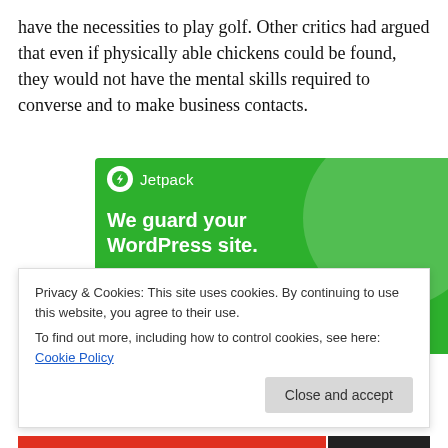have the necessities to play golf. Other critics had argued that even if physically able chickens could be found, they would not have the mental skills required to converse and to make business contacts.
[Figure (infographic): Jetpack advertisement banner with green background showing a bolt icon logo, brand name 'Jetpack', and text 'We guard your WordPress site. You run your business.' with decorative circle in upper right.]
Privacy & Cookies: This site uses cookies. By continuing to use this website, you agree to their use.
To find out more, including how to control cookies, see here: Cookie Policy
Close and accept